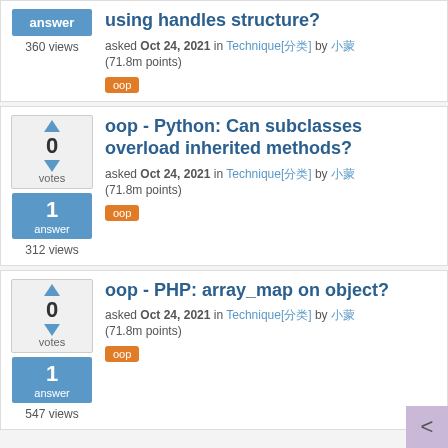using handles structure?
asked Oct 24, 2021 in Technique[分类] by 小蒙 (71.8m points)
oop
360 views
oop - Python: Can subclasses overload inherited methods?
asked Oct 24, 2021 in Technique[分类] by 小蒙 (71.8m points)
oop
312 views
oop - PHP: array_map on object?
asked Oct 24, 2021 in Technique[分类] by 小蒙 (71.8m points)
oop
547 views